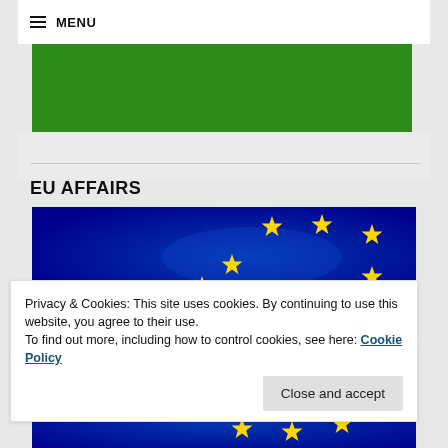≡ MENU
[Figure (other): Green banner/header image]
EU AFFAIRS
[Figure (photo): EU flag — blue background with yellow stars (top portion)]
Privacy & Cookies: This site uses cookies. By continuing to use this website, you agree to their use.
To find out more, including how to control cookies, see here: Cookie Policy
Close and accept
[Figure (photo): EU flag — blue background with yellow stars (bottom portion)]